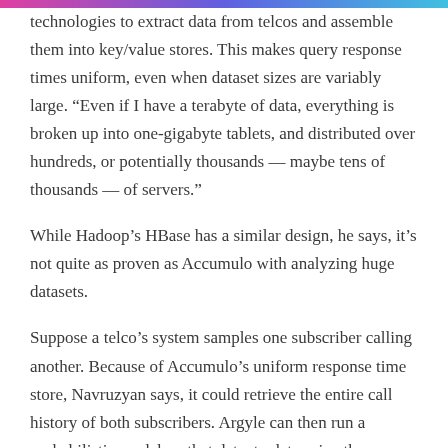technologies to extract data from telcos and assemble them into key/value stores. This makes query response times uniform, even when dataset sizes are variably large. “Even if I have a terabyte of data, everything is broken up into one-gigabyte tablets, and distributed over hundreds, or potentially thousands — maybe tens of thousands — of servers.”
While Hadoop’s HBase has a similar design, he says, it’s not quite as proven as Accumulo with analyzing huge datasets.
Suppose a telco’s system samples one subscriber calling another. Because of Accumulo’s uniform response time store, Navruzyan says, it could retrieve the entire call history of both subscribers. Argyle can then run a probabilistic model on that data, to determine the likelihood of questionable activity, given both parties’ call history.